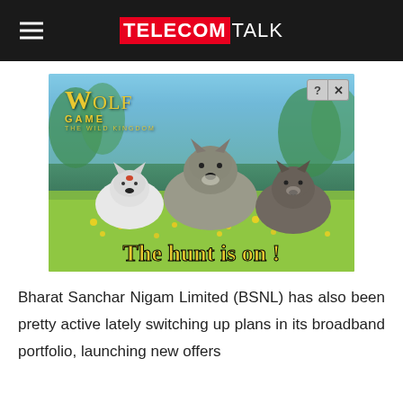TELECOMTALK
[Figure (screenshot): Wolf Game: The Wild Kingdom advertisement showing three CGI wolves in a meadow with yellow flowers. Text reads 'THE HUNT IS ON!' with close/question buttons in top right corner.]
Bharat Sanchar Nigam Limited (BSNL) has also been pretty active lately switching up plans in its broadband portfolio, launching new offers